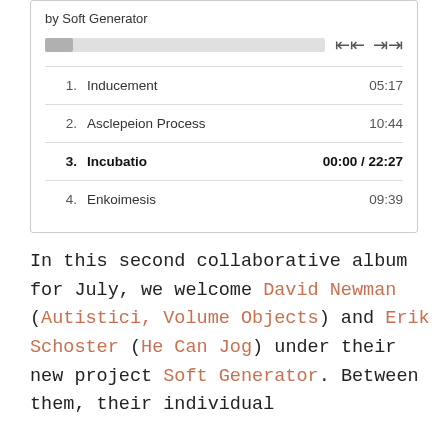[Figure (screenshot): Music player widget showing album 'by Soft Generator' with a progress bar, playback controls, and a tracklist: 1. Inducement 05:17, 2. Asclepeion Process 10:44, 3. Incubatio (active, bold) 00:00 / 22:27, 4. Enkoimesis 09:39]
In this second collaborative album for July, we welcome David Newman (Autistici, Volume Objects) and Erik Schoster (He Can Jog) under their new project Soft Generator. Between them, their individual